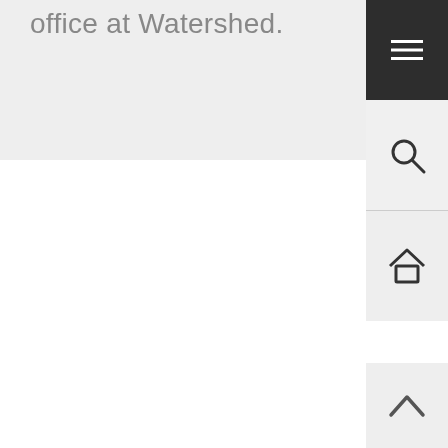office at Watershed.
[Figure (screenshot): Website navigation sidebar with hamburger menu (dark), search icon, home icon, and scroll-to-top arrow button]
[Figure (screenshot): Main content area - mostly blank white space below header]